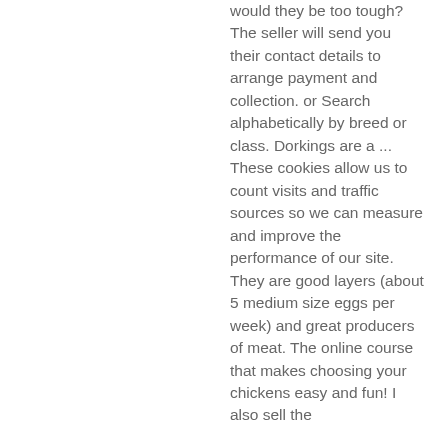would they be too tough? The seller will send you their contact details to arrange payment and collection. or Search alphabetically by breed or class. Dorkings are a ... These cookies allow us to count visits and traffic sources so we can measure and improve the performance of our site. They are good layers (about 5 medium size eggs per week) and great producers of meat. The online course that makes choosing your chickens easy and fun! I also sell the